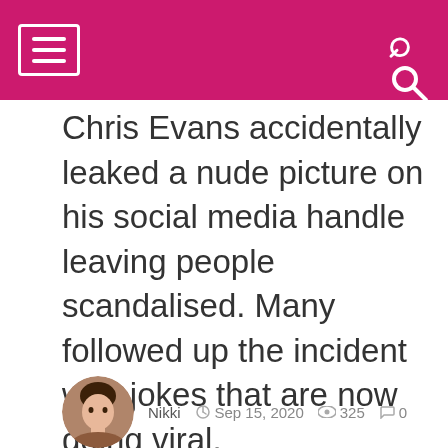Chris Evans accidentally leaked a nude picture on his social media handle leaving people scandalised. Many followed up the incident with jokes that are now going viral.
Nikki  Sep 15, 2020  325  0